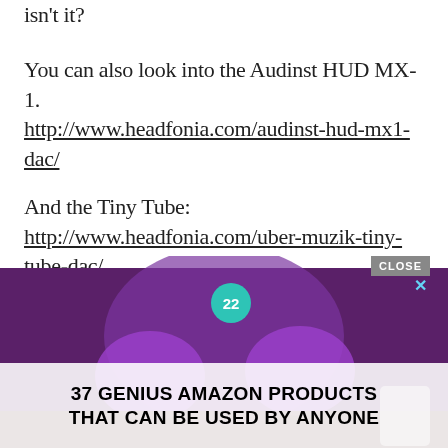isn't it?
You can also look into the Audinst HUD MX-1. http://www.headfonia.com/audinst-hud-mx1-dac/
And the Tiny Tube: http://www.headfonia.com/uber-muzik-tiny-tube-dac/
All three are good entry level pairings for the SR-60i and DT880.
[Figure (screenshot): Advertisement banner showing purple headphones with overlay text '37 GENIUS AMAZON PRODUCTS THAT CAN BE USED BY ANYONE' with a CLOSE button and X button]